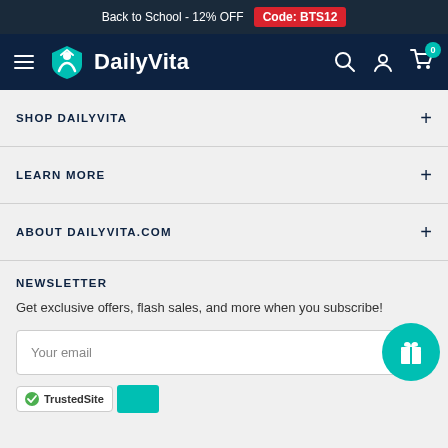Back to School - 12% OFF  Code: BTS12
[Figure (logo): DailyVita logo with teal shield/person icon and white text on dark navy navigation bar with hamburger menu, search, account, and cart icons]
SHOP DAILYVITA
LEARN MORE
ABOUT DAILYVITA.COM
NEWSLETTER
Get exclusive offers, flash sales, and more when you subscribe!
Your email
[Figure (logo): TrustedSite badge with green checkmark and teal rectangle]